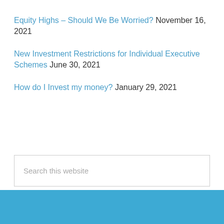Equity Highs – Should We Be Worried? November 16, 2021
New Investment Restrictions for Individual Executive Schemes June 30, 2021
How do I Invest my money? January 29, 2021
Search this website